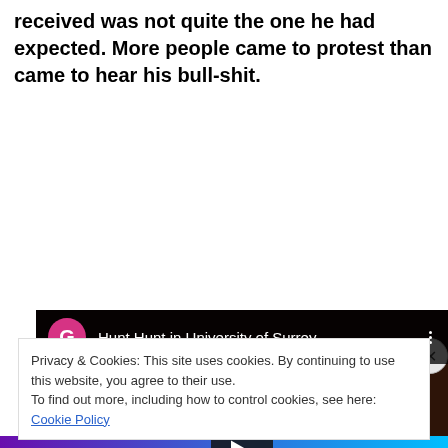received was not quite the one he had expected. More people came to protest than came to hear his bull-shit.
[Figure (screenshot): YouTube video thumbnail titled 'Hunt Hunt in University of Surrey' with a pink/magenta G avatar icon, a dark video frame showing an interior architectural scene, a play button in the center, a cookie consent banner overlay, and a 'Close and accept' button.]